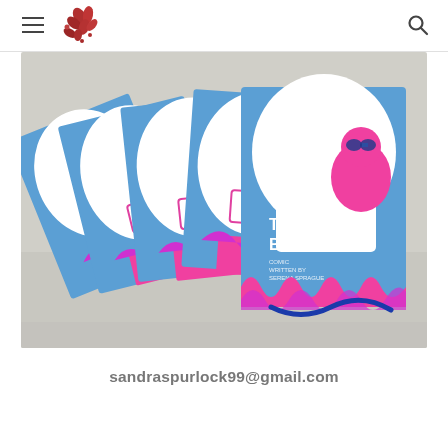Navigation header with hamburger menu, logo, and search icon
[Figure (photo): A fan of multiple blue comic book zines titled 'Tabletop Brown' spread out on a white surface. Each zine features a stylized white cartoon animal (rabbit/horse) with pink and magenta flame accents at the bottom, and a pink character with goggles on the front cover.]
sandraspurlock99@gmail.com